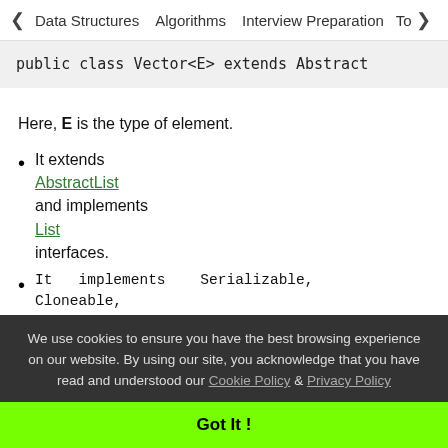< Data Structures   Algorithms   Interview Preparation   To>
public class Vector<E> extends Abstract
Here, E is the type of element.
It extends AbstractList and implements List interfaces.
It implements Serializable, Cloneable, Iterable<E>, Collection<E>, List<E>, RandomAccess interfaces.
We use cookies to ensure you have the best browsing experience on our website. By using our site, you acknowledge that you have read and understood our Cookie Policy & Privacy Policy
Got It !